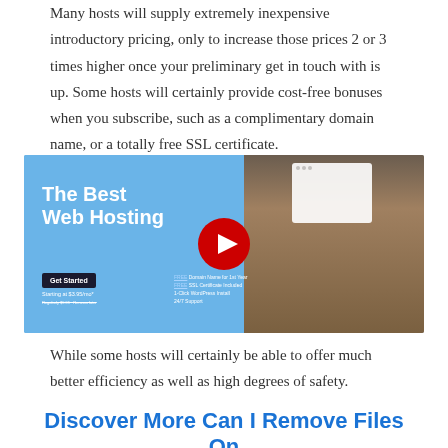Many hosts will supply extremely inexpensive introductory pricing, only to increase those prices 2 or 3 times higher once your preliminary get in touch with is up. Some hosts will certainly provide cost-free bonuses when you subscribe, such as a complimentary domain name, or a totally free SSL certificate.
[Figure (screenshot): YouTube video thumbnail for 'The Best Web Hosting' showing a blue promotional web hosting banner with a Get Started button, pricing starting at $3.95/mo, and a YouTube play button overlay in the center. A man with an afro hairstyle wearing a floral shirt appears on the right side.]
While some hosts will certainly be able to offer much better efficiency as well as high degrees of safety.
Discover More Can I Remove Files On